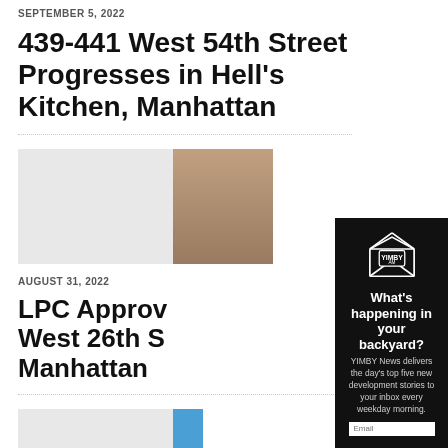SEPTEMBER 5, 2022
439-441 West 54th Street Progresses in Hell's Kitchen, Manhattan
[Figure (photo): Thumbnail image of building construction, partially visible]
AUGUST 31, 2022
LPC Approv… West 26th S… Manhattan
[Figure (screenshot): YIMBY AM email newsletter modal popup with envelope logo, headline 'What's happening in your backyard?', body text, and email input field]